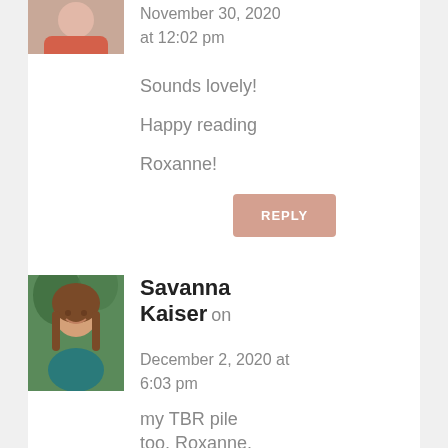November 30, 2020 at 12:02 pm
Sounds lovely!

Happy reading

Roxanne!
REPLY
[Figure (photo): Portrait photo of a young woman with long brown hair wearing a teal top, smiling, with greenery in background]
Savanna Kaiser on December 2, 2020 at 6:03 pm
That one is on my TBR pile too, Roxanne. 🙂